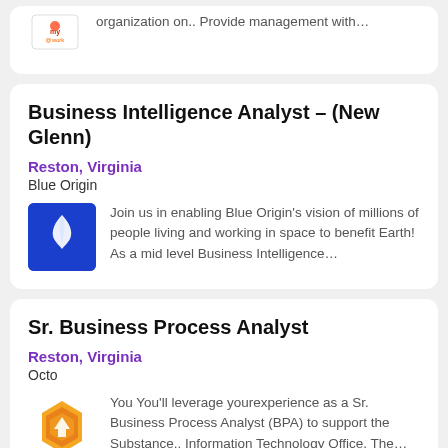[Figure (logo): myiwork logo - small red/orange logo]
organization on.. Provide management with…
Business Intelligence Analyst – (New Glenn)
Reston, Virginia
Blue Origin
[Figure (logo): Blue Origin logo - white feather on blue background]
Join us in enabling Blue Origin's vision of millions of people living and working in space to benefit Earth! As a mid level Business Intelligence…
Sr. Business Process Analyst
Reston, Virginia
Octo
[Figure (logo): Octo logo - orange hexagon shape]
You You'll leverage yourexperience as a Sr. Business Process Analyst (BPA) to support the Substance.. Information Technology Office. The…